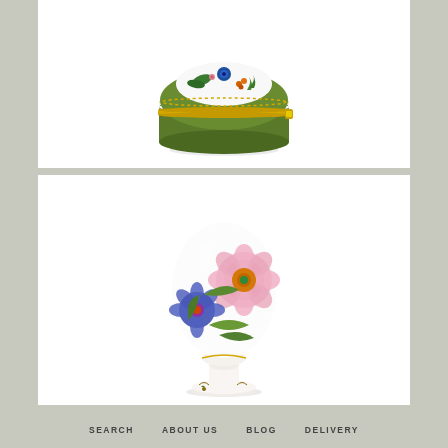[Figure (photo): Green ceramic egg-shaped box with botanical floral design on lid including blue flowers, orange berries, green foliage, and gold trim bands]
[Figure (photo): White porcelain egg on a pedestal stand, decorated with painted pink and blue flowers, green leaves in botanical style]
SEARCH   ABOUT US   BLOG   DELIVERY